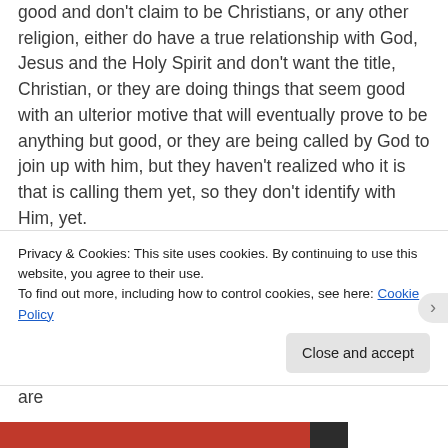good and don't claim to be Christians, or any other religion, either do have a true relationship with God, Jesus and the Holy Spirit and don't want the title, Christian, or they are doing things that seem good with an ulterior motive that will eventually prove to be anything but good, or they are being called by God to join up with him, but they haven't realized who it is that is calling them yet, so they don't identify with Him, yet.
I am not quite sure how believing the opposite is the slippery slope to doing evil. Are you maybe thinking of what happened during the Crusades? If so, you are
Privacy & Cookies: This site uses cookies. By continuing to use this website, you agree to their use.
To find out more, including how to control cookies, see here: Cookie Policy